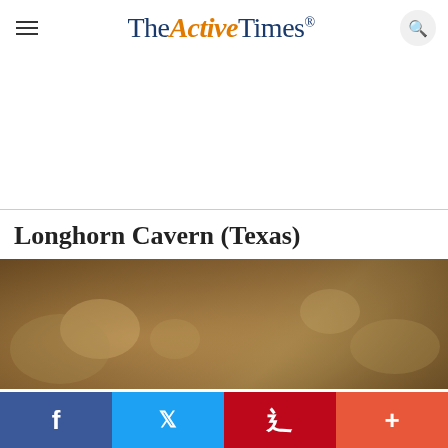TheActiveTimes
[Figure (other): White advertisement area (blank ad space)]
Longhorn Cavern (Texas)
[Figure (photo): Interior photograph of Longhorn Cavern showing limestone rock formations with warm amber/brown tones]
[Figure (other): Social sharing bar with Facebook, Twitter, Pinterest, and More buttons at the bottom of the page]